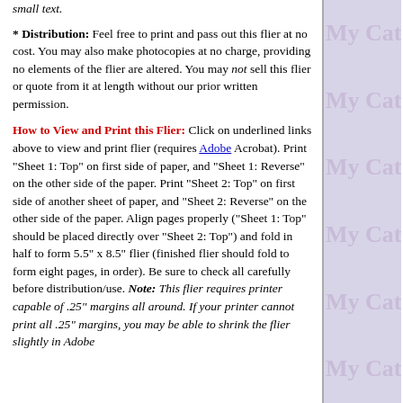small text.
* Distribution: Feel free to print and pass out this flier at no cost. You may also make photocopies at no charge, providing no elements of the flier are altered. You may not sell this flier or quote from it at length without our prior written permission.
How to View and Print this Flier: Click on underlined links above to view and print flier (requires Adobe Acrobat). Print "Sheet 1: Top" on first side of paper, and "Sheet 1: Reverse" on the other side of the paper. Print "Sheet 2: Top" on first side of another sheet of paper, and "Sheet 2: Reverse" on the other side of the paper. Align pages properly ("Sheet 1: Top" should be placed directly over "Sheet 2: Top") and fold in half to form 5.5" x 8.5" flier (finished flier should fold to form eight pages, in order). Be sure to check all carefully before distribution/use. Note: This flier requires printer capable of .25" margins all around. If your printer cannot print all .25" margins, you may be able to shrink the flier slightly in Adobe